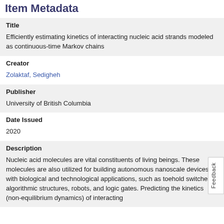Item Metadata
| Field | Value |
| --- | --- |
| Title | Efficiently estimating kinetics of interacting nucleic acid strands modeled as continuous-time Markov chains |
| Creator | Zolaktaf, Sedigheh |
| Publisher | University of British Columbia |
| Date Issued | 2020 |
| Description | Nucleic acid molecules are vital constituents of living beings. These molecules are also utilized for building autonomous nanoscale devices with biological and technological applications, such as toehold switches, algorithmic structures, robots, and logic gates. Predicting the kinetics (non-equilibrium dynamics) of interacting |